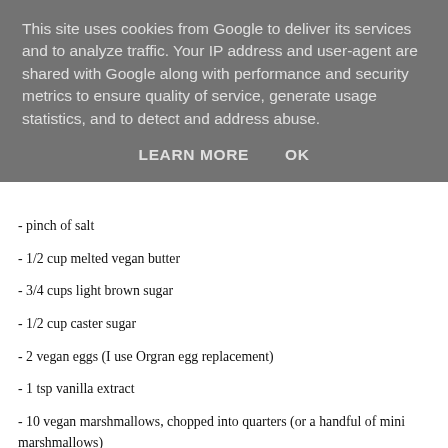This site uses cookies from Google to deliver its services and to analyze traffic. Your IP address and user-agent are shared with Google along with performance and security metrics to ensure quality of service, generate usage statistics, and to detect and address abuse.
LEARN MORE    OK
- pinch of salt
- 1/2 cup melted vegan butter
- 3/4 cups light brown sugar
- 1/2 cup caster sugar
- 2 vegan eggs (I use Orgran egg replacement)
- 1 tsp vanilla extract
- 10 vegan marshmallows, chopped into quarters (or a handful of mini marshmallows)
- 1/2 a bar of vegan dark chocolate, chopped into small chunks
Method -